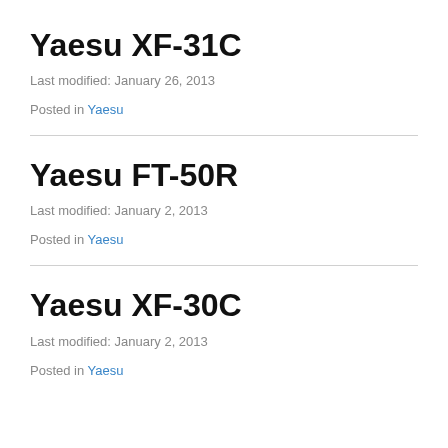Yaesu XF-31C
Last modified: January 26, 2013
Posted in Yaesu
Yaesu FT-50R
Last modified: January 2, 2013
Posted in Yaesu
Yaesu XF-30C
Last modified: January 2, 2013
Posted in Yaesu